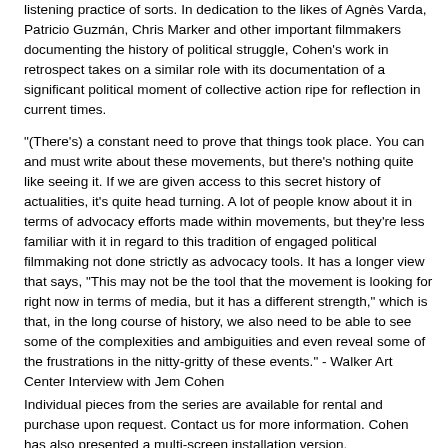listening practice of sorts. In dedication to the likes of Agnès Varda, Patricio Guzmán, Chris Marker and other important filmmakers documenting the history of political struggle, Cohen's work in retrospect takes on a similar role with its documentation of a significant political moment of collective action ripe for reflection in current times.
"(There's) a constant need to prove that things took place. You can and must write about these movements, but there's nothing quite like seeing it. If we are given access to this secret history of actualities, it's quite head turning. A lot of people know about it in terms of advocacy efforts made within movements, but they're less familiar with it in regard to this tradition of engaged political filmmaking not done strictly as advocacy tools. It has a longer view that says, "This may not be the tool that the movement is looking for right now in terms of media, but it has a different strength," which is that, in the long course of history, we also need to be able to see some of the complexities and ambiguities and even reveal some of the frustrations in the nitty-gritty of these events." - Walker Art Center Interview with Jem Cohen
Individual pieces from the series are available for rental and purchase upon request. Contact us for more information. Cohen has also presented a multi-screen installation version.